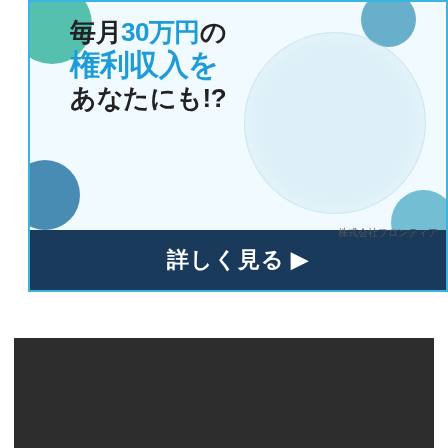[Figure (infographic): Japanese advertisement banner for passive income service. Top white section with blue border shows Japanese text: '毎月30万円の権利収入をあなたにも!?' (Could you also earn passive income of 300,000 yen per month!?) with decorative teal/blue circles and globe watermark. Company name '株式会社フロンティア' (Frontier Co., Ltd.) appears bottom right. Dark navy bottom bar contains call-to-action text '詳しく見る▶' (See details). Below is a dark gray/black rectangle block.]